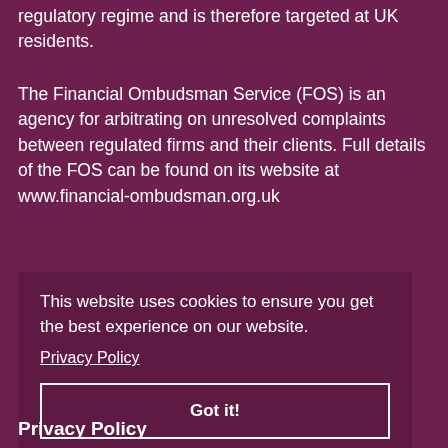regulatory regime and is therefore targeted at UK residents.
The Financial Ombudsman Service (FOS) is an agency for arbitrating on unresolved complaints between regulated firms and their clients. Full details of the FOS can be found on its website at www.financial-ombudsman.org.uk
This website uses cookies to ensure you get the best experience on our website.
Privacy Policy
Got it!
Privacy Policy